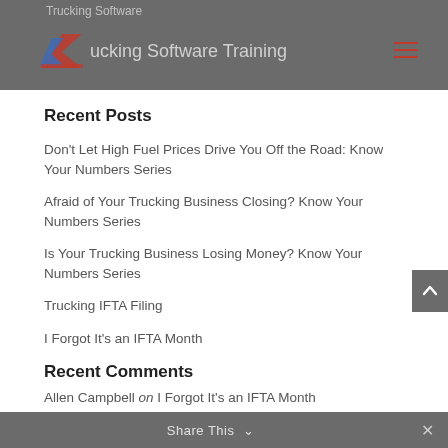Trucking Software — Trucking Software Training
Recent Posts
Don't Let High Fuel Prices Drive You Off the Road: Know Your Numbers Series
Afraid of Your Trucking Business Closing? Know Your Numbers Series
Is Your Trucking Business Losing Money? Know Your Numbers Series
Trucking IFTA Filing
I Forgot It's an IFTA Month
Recent Comments
Allen Campbell on I Forgot It's an IFTA Month
Share This